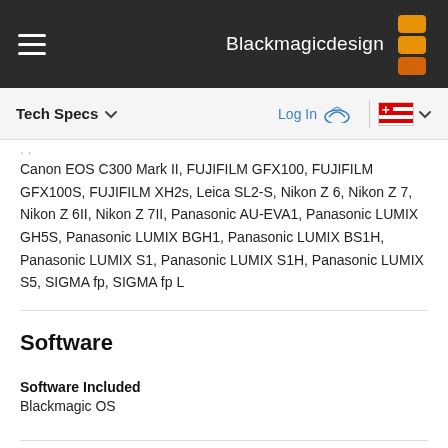Blackmagicdesign
Tech Specs  Log In  [Canada flag]
Canon EOS C300 Mark II, FUJIFILM GFX100, FUJIFILM GFX100S, FUJIFILM XH2s, Leica SL2-S, Nikon Z 6, Nikon Z 7, Nikon Z 6II, Nikon Z 7II, Panasonic AU-EVA1, Panasonic LUMIX GH5S, Panasonic LUMIX BGH1, Panasonic LUMIX BS1H, Panasonic LUMIX S1, Panasonic LUMIX S1H, Panasonic LUMIX S5, SIGMA fp, SIGMA fp L
Software
Software Included
Blackmagic OS